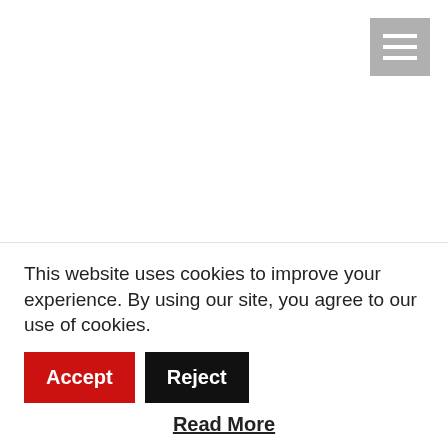[Figure (other): Hamburger menu icon button (three white horizontal lines on a grey background) in the top-right corner]
Multidisciplinary artist and producer Stigell has released his music video for 'Lose My Mind' with some scenes filmed Copperdollar Studios. We speak to the founder of Soulles Entertainment, Jay Bradshaw, about the new video and how
This website uses cookies to improve your experience. By using our site, you agree to our use of cookies.
Accept
Reject
Read More